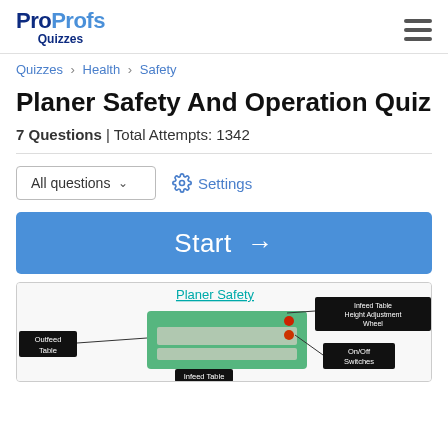ProProfs Quizzes
Quizzes > Health > Safety
Planer Safety And Operation Quiz
7 Questions | Total Attempts: 1342
All questions  Settings
Start →
[Figure (photo): Diagram of a planer machine labeled with parts: Outfeed Table, Infeed Table, Infeed Table Height Adjustment Wheel, On/Off Switches. Title reads 'Planer Safety' in teal/cyan underlined text.]